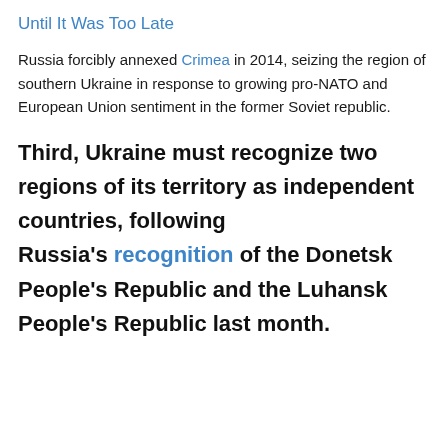Until It Was Too Late
Russia forcibly annexed Crimea in 2014, seizing the region of southern Ukraine in response to growing pro-NATO and European Union sentiment in the former Soviet republic.
Third, Ukraine must recognize two regions of its territory as independent countries, following Russia's recognition of the Donetsk People's Republic and the Luhansk People's Republic last month.